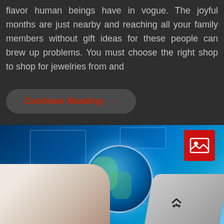flavor human beings have in vogue. The joyful months are just nearby and reaching all your family members without gift ideas for these people can brew up problems. You must choose the right shop to shop for jewelries from and
Continue Reading →
[Figure (photo): Person typing on laptop with digital globe and floating interface panels in blue technology background, with a red image placeholder icon in top right corner]